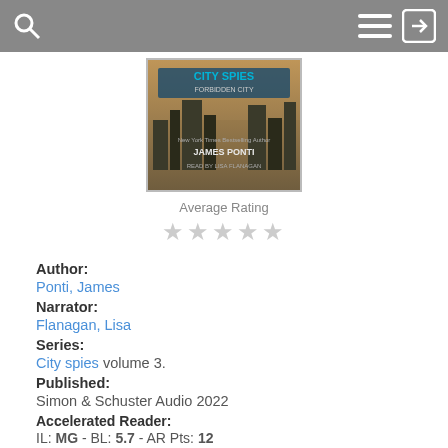City Spies app header with search and menu icons
[Figure (illustration): Book cover for City Spies: Forbidden City by James Ponti, read by Lisa Flanagan. Shows stylized city skyline with teal and orange tones.]
Average Rating
☆☆☆☆☆ (empty stars)
Author: Ponti, James
Narrator: Flanagan, Lisa
Series: City spies volume 3.
Published: Simon & Schuster Audio 2022
Accelerated Reader: IL: MG - BL: 5.7 - AR Pts: 12
Status: Available from OverDrive
Check Out OverDrive